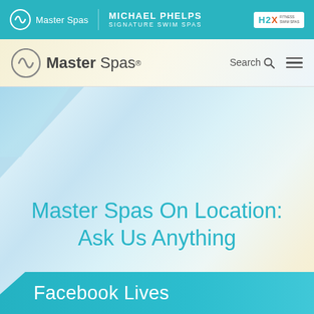[Figure (screenshot): Master Spas top navigation banner with teal background showing Master Spas logo, Michael Phelps Signature Swim Spas text, and H2X logo]
[Figure (logo): Master Spas navigation bar with logo, Search icon, and hamburger menu on light yellow-white gradient background]
Master Spas On Location: Ask Us Anything
Facebook Lives